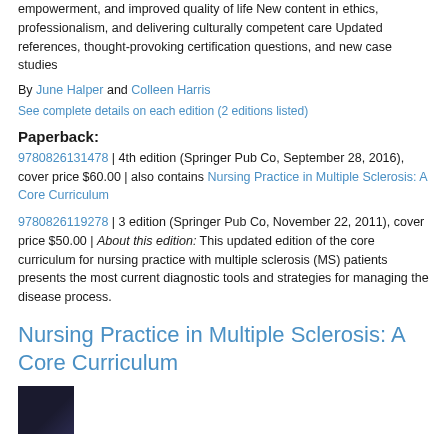empowerment, and improved quality of life New content in ethics, professionalism, and delivering culturally competent care Updated references, thought-provoking certification questions, and new case studies
By June Halper and Colleen Harris
See complete details on each edition (2 editions listed)
Paperback:
9780826131478 | 4th edition (Springer Pub Co, September 28, 2016), cover price $60.00 | also contains Nursing Practice in Multiple Sclerosis: A Core Curriculum
9780826119278 | 3 edition (Springer Pub Co, November 22, 2011), cover price $50.00 | About this edition: This updated edition of the core curriculum for nursing practice with multiple sclerosis (MS) patients presents the most current diagnostic tools and strategies for managing the disease process.
Nursing Practice in Multiple Sclerosis: A Core Curriculum
[Figure (photo): Book cover thumbnail for Nursing Practice in Multiple Sclerosis: A Core Curriculum, dark colored cover]